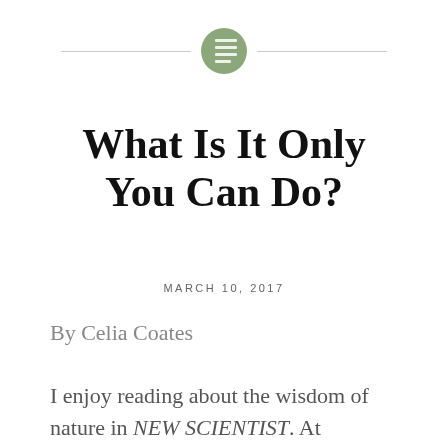[Figure (logo): Decorative header icon: a green circle with horizontal lines (representing a blog/article icon), flanked by two horizontal gray lines]
What Is It Only You Can Do?
MARCH 10, 2017
By Celia Coates
I enjoy reading about the wisdom of nature in NEW SCIENTIST. At